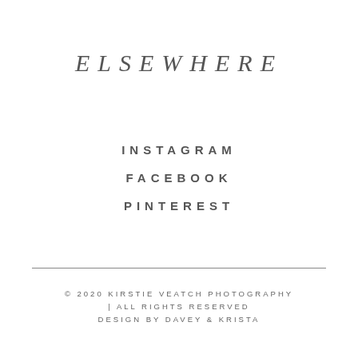ELSEWHERE
INSTAGRAM
FACEBOOK
PINTEREST
© 2020 KIRSTIE VEATCH PHOTOGRAPHY | ALL RIGHTS RESERVED DESIGN BY DAVEY & KRISTA